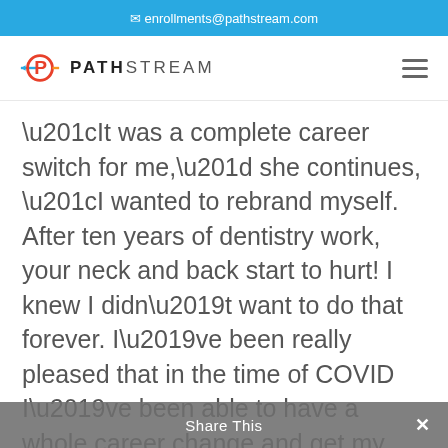✉ enrollments@pathstream.com
[Figure (logo): Pathstream logo with stylized P icon in red, orange, blue colors and arrows, followed by PATHSTREAM text in bold/regular weight]
“It was a complete career switch for me,” she continues, “I wanted to rebrand myself. After ten years of dentistry work, your neck and back start to hurt! I knew I didn’t want to do that forever. I’ve been really pleased that in the time of COVID I’ve been able to have a whole career change and get my foot in the door at three different companies. I wouldn’t have been able to do that without the
Share This